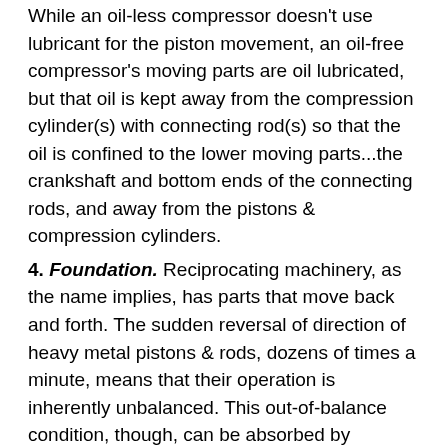While an oil-less compressor doesn't use lubricant for the piston movement, an oil-free compressor's moving parts are oil lubricated, but that oil is kept away from the compression cylinder(s) with connecting rod(s) so that the oil is confined to the lower moving parts...the crankshaft and bottom ends of the connecting rods, and away from the pistons & compression cylinders.
4. Foundation. Reciprocating machinery, as the name implies, has parts that move back and forth. The sudden reversal of direction of heavy metal pistons & rods, dozens of times a minute, means that their operation is inherently unbalanced. This out-of-balance condition, though, can be absorbed by properly securing the compressor to a properly prepared foundation.
5. Higher pressures. If your facility's compressed air usage primarily entails pneumatic tools, cylinders, and blow off devices like air guns, the system header pressure is likely